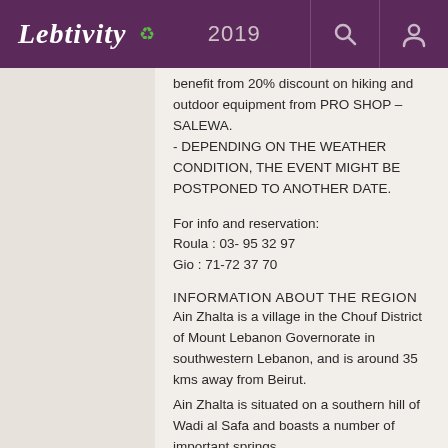Lebtivity 2019
benefit from 20% discount on hiking and outdoor equipment from PRO SHOP – SALEWA.
- DEPENDING ON THE WEATHER CONDITION, THE EVENT MIGHT BE POSTPONED TO ANOTHER DATE.
For info and reservation:
Roula : 03- 95 32 97
Gio : 71-72 37 70
INFORMATION ABOUT THE REGION
Ain Zhalta is a village in the Chouf District of Mount Lebanon Governorate in southwestern Lebanon, and is around 35 kms away from Beirut.
Ain Zhalta is situated on a southern hill of Wadi al Safa and boasts a number of important springs.
In the town are the remains of a citadel that was built during Maani rule and later was transformed into a Protestant Church.